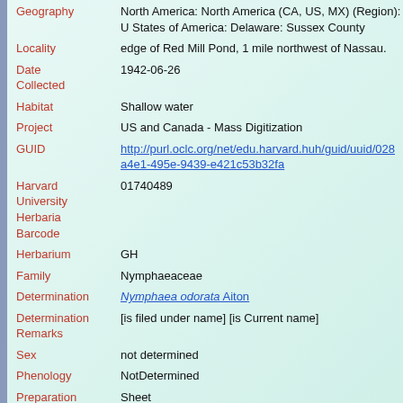Geography: North America: North America (CA, US, MX) (Region): United States of America: Delaware: Sussex County
Locality: edge of Red Mill Pond, 1 mile northwest of Nassau.
Date Collected: 1942-06-26
Habitat: Shallow water
Project: US and Canada - Mass Digitization
GUID: http://purl.oclc.org/net/edu.harvard.huh/guid/uuid/028a4e1-495e-9439-e421c53b32fa
Harvard University Herbaria Barcode: 01740489
Herbarium: GH
Family: Nymphaeaceae
Determination: Nymphaea odorata Aiton
Determination Remarks: [is filed under name] [is Current name]
Sex: not determined
Phenology: NotDetermined
Preparation Type: Sheet